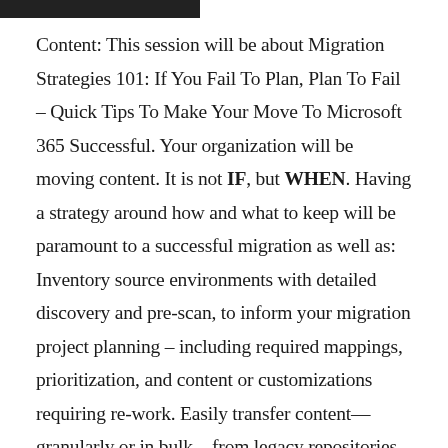Content: This session will be about Migration Strategies 101: If You Fail To Plan, Plan To Fail – Quick Tips To Make Your Move To Microsoft 365 Successful. Your organization will be moving content. It is not IF, but WHEN. Having a strategy around how and what to keep will be paramount to a successful migration as well as: Inventory source environments with detailed discovery and pre-scan, to inform your migration project planning – including required mappings, prioritization, and content or customizations requiring re-work. Easily transfer content—granularly or in bulk—from legacy repositories to SharePoint and Microsoft 365 with a simple point-and-click interface. Flexible job scheduling